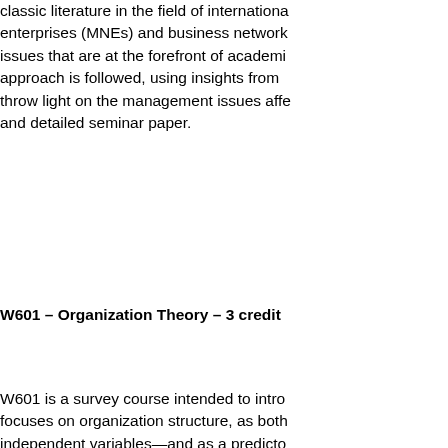classic literature in the field of internationa enterprises (MNEs) and business network issues that are at the forefront of academi approach is followed, using insights from throw light on the management issues affe and detailed seminar paper.
W601 – Organization Theory – 3 credit
W601 is a survey course intended to intro focuses on organization structure, as both independent variables—and as a predicto readings so that you will gain an apprecia strategic management, and then discuss this earlier foundation.
W610 – Theoretical Foundations of Ent
This course is designed as a broad survey objective is to familiarize the students with field as well as some of the common and/ entrepreneurial phenomena.  Topics cover entrepreneurship and research agendas, entrepreneurial attention and information opportunity, entrepreneurial decision mak